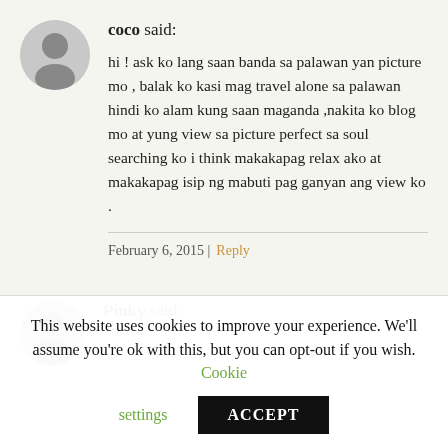coco said:
hi ! ask ko lang saan banda sa palawan yan picture mo , balak ko kasi mag travel alone sa palawan hindi ko alam kung saan maganda ,nakita ko blog mo at yung view sa picture perfect sa soul searching ko i think makakapag relax ako at makakapag isip ng mabuti pag ganyan ang view ko .
February 6, 2015 | Reply
Pinky said:
This website uses cookies to improve your experience. We'll assume you're ok with this, but you can opt-out if you wish. Cookie settings ACCEPT